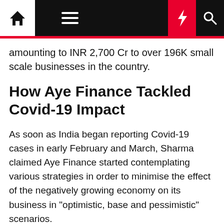Navigation bar with home, menu, moon, bolt, and search icons
amounting to INR 2,700 Cr to over 196K small scale businesses in the country.
How Aye Finance Tackled Covid-19 Impact
As soon as India began reporting Covid-19 cases in early February and March, Sharma claimed Aye Finance started contemplating various strategies in order to minimise the effect of the negatively growing economy on its business in "optimistic, base and pessimistic" scenarios.
Each scenario involved different points of action — ranging from the situation improving by June with recovery by August in the best-case to the worst-case scenario where the business would only